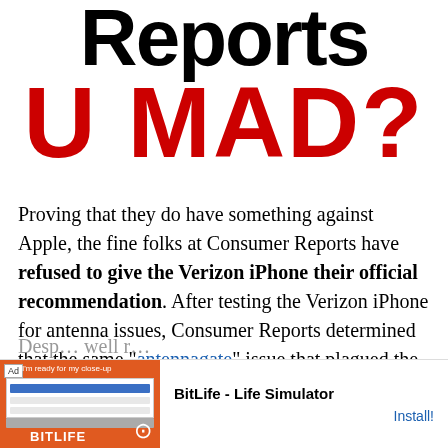Reports
U MAD?
Proving that they do have something against Apple, the fine folks at Consumer Reports have refused to give the Verizon iPhone their official recommendation. After testing the Verizon iPhone for antenna issues, Consumer Reports determined that the same “antennagate” issue that plagued the original iPhone 4 on AT&T also plagues the CDMA version of the iPhone.
[Figure (screenshot): Mobile advertisement banner for BitLife - Life Simulator app, with orange background, showing a phone screenshot and BitLife logo, with Install! button]